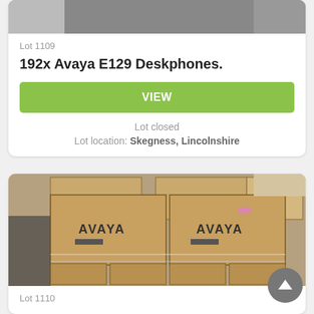[Figure (photo): Partial top image of items, cropped at top of page]
Lot 1109
192x Avaya E129 Deskphones.
VIEW
Lot closed
Lot location: Skegness, Lincolnshire
[Figure (photo): Photo of palletized Avaya branded cardboard boxes wrapped in plastic wrap, showing multiple boxes with AVAYA label, stacked on a pallet]
Lot 1110